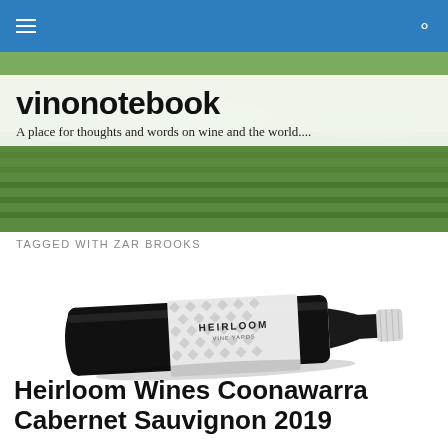vinonotebook navigation bar
[Figure (photo): Vineyard landscape banner image showing green vines]
vinonotebook
A place for thoughts and words on wine and the world....
TAGGED WITH ZAR BROOKS
[Figure (photo): Heirloom wine bottle lying horizontally, black bottle with white diamond-patterned label reading HEIRLOOM VINE YARDS, white capsule/screw cap]
Heirloom Wines Coonawarra Cabernet Sauvignon 2019